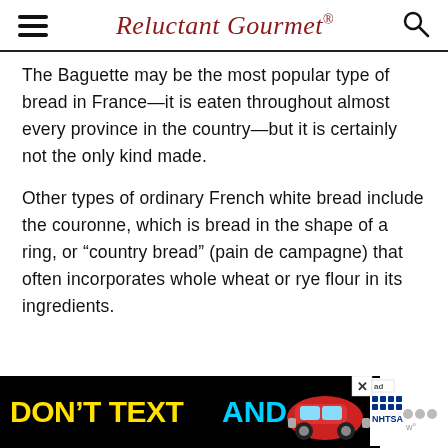Reluctant Gourmet
The Baguette may be the most popular type of bread in France—it is eaten throughout almost every province in the country—but it is certainly not the only kind made.
Other types of ordinary French white bread include the couronne, which is bread in the shape of a ring, or “country bread” (pain de campagne) that often incorporates whole wheat or rye flour in its ingredients.
[Figure (other): Advertisement banner: DON'T TEXT AND [car image] with NHTSA logo and ad badge]